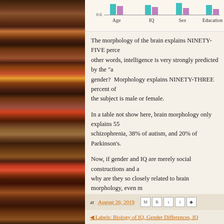[Figure (bar-chart): Partial R² by variable]
The morphology of the brain explains NINETY-FIVE percent... In other words, intelligence is very strongly predicted by the "a..." gender? Morphology explains NINETY-THREE percent of... the subject is male or female.
In a table not show here, brain morphology only explains 55... schizophrenia, 38% of autism, and 20% of Parkinson's.
Now, if gender and IQ are merely social constructions and a... why are they so closely related to brain morphology, even m... brain diseases? People who push the biology-doesn't-really... are idiots and liars.
at August 26, 2019